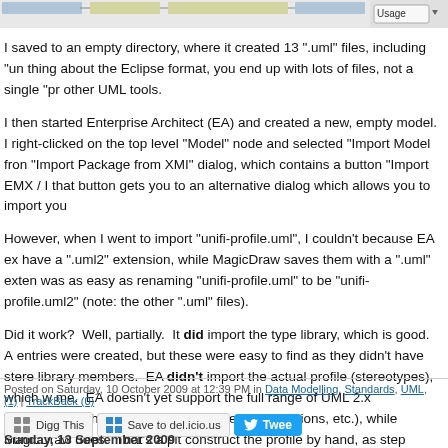[Figure (screenshot): Top portion of a webpage showing diagram/UI screenshot with 'Usage' dropdown at top right]
I saved to an empty directory, where it created 13 ".uml" files, including "un... thing about the Eclipse format, you end up with lots of files, not a single "pr... other UML tools.
I then started Enterprise Architect (EA) and created a new, empty model. I right-clicked on the top level "Model" node and selected "Import Model fron... "Import Package from XMI" dialog, which contains a button "Import EMX / I... that button gets you to an alternative dialog which allows you to import you...
However, when I went to import "unifi-profile.uml", I couldn't because EA ex... have a ".uml2" extension, while MagicDraw saves them with a ".uml" exten... was as easy as renaming "unifi-profile.uml" to be "unifi-profile.uml2" (note:... the other ".uml" files).
Did it work?  Well, partially.  It did import the type library, which is good.  A entries were created, but these were easy to find as they didn't have stere... library members.  EA didn't import the actual profile (stereotypes), which w... me.  EA doesn't yet support the full range of UML 2.x metaclasses (these n... classes, attributes, associations, etc.), while MagicDraw does.  That's a pit... construct the profile by hand, as step towards providing EA support in the D... Generator.
Posted on Saturday, 10 October 2009 at 12:39 PM in Data Modelling, Standards, UML, ... (1) | TrackBack (0)
Sunday, 13 September 2009